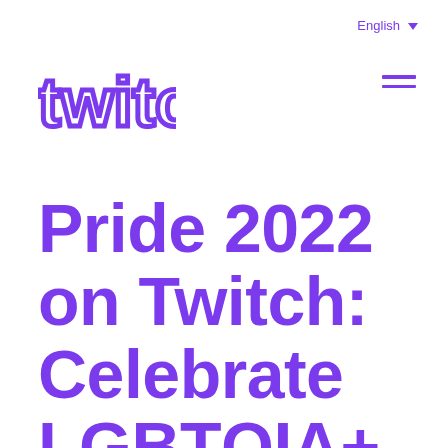English
[Figure (logo): Twitch logo in purple outline style]
Pride 2022 on Twitch: Celebrate LGBTQIA+ Creators All